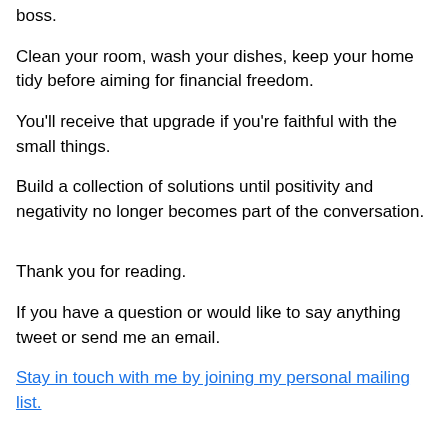boss.
Clean your room, wash your dishes, keep your home tidy before aiming for financial freedom.
You'll receive that upgrade if you're faithful with the small things.
Build a collection of solutions until positivity and negativity no longer becomes part of the conversation.
Thank you for reading.
If you have a question or would like to say anything tweet or send me an email.
Stay in touch with me by joining my personal mailing list.